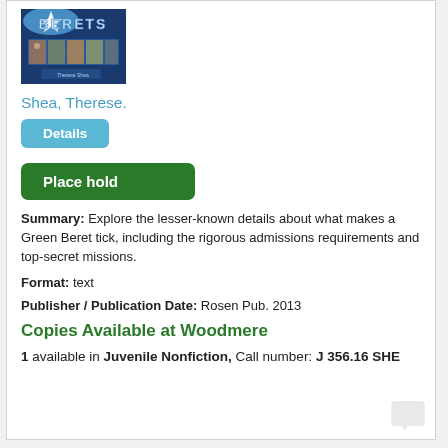[Figure (photo): Book cover image for Green Berets by Therese Shea, showing soldiers and title text on a blue background]
Shea, Therese.
Details
Place hold
Summary: Explore the lesser-known details about what makes a Green Beret tick, including the rigorous admissions requirements and top-secret missions.
Format: text
Publisher / Publication Date: Rosen Pub. 2013
Copies Available at Woodmere
1 available in Juvenile Nonfiction, Call number: J 356.16 SHE